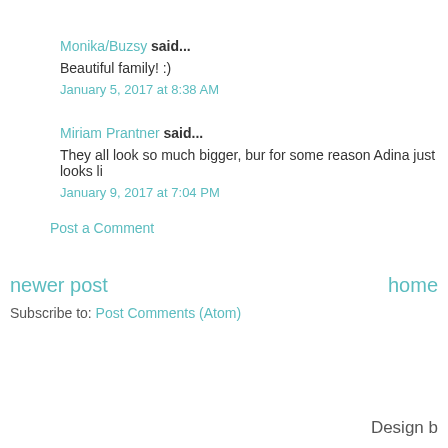Monika/Buzsy said...
Beautiful family! :)
January 5, 2017 at 8:38 AM
Miriam Prantner said...
They all look so much bigger, bur for some reason Adina just looks li
January 9, 2017 at 7:04 PM
Post a Comment
newer post
home
Subscribe to: Post Comments (Atom)
Design b